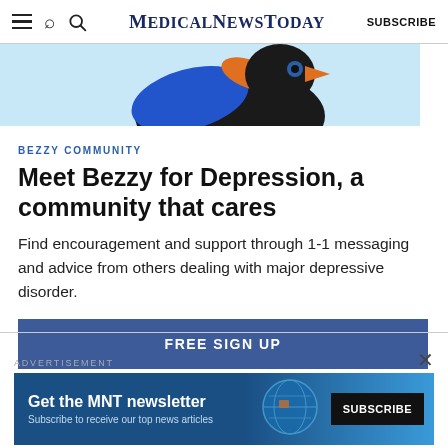MedicalNewsToday  SUBSCRIBE
[Figure (illustration): Partial view of a colorful bird illustration on a light blue background, cropped at top of page]
BEZZY COMMUNITY
Meet Bezzy for Depression, a community that cares
Find encouragement and support through 1-1 messaging and advice from others dealing with major depressive disorder.
FREE SIGN UP
ADVERTISEMENT
[Figure (screenshot): Advertisement banner for MNT newsletter: 'Get the MNT newsletter' with 'Subscribe to receive our top news articles' and a SUBSCRIBE button on dark background, with a globe/world map illustration on the right side]